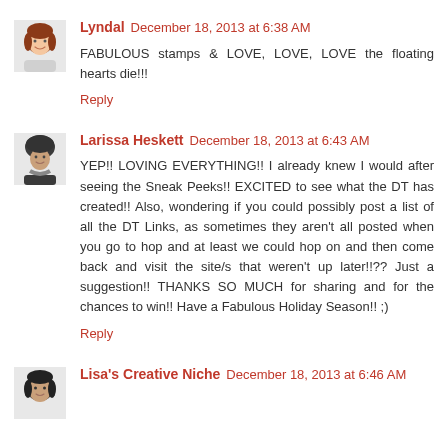Lyndal  December 18, 2013 at 6:38 AM
FABULOUS stamps & LOVE, LOVE, LOVE the floating hearts die!!!
Reply
Larissa Heskett  December 18, 2013 at 6:43 AM
YEP!! LOVING EVERYTHING!! I already knew I would after seeing the Sneak Peeks!! EXCITED to see what the DT has created!! Also, wondering if you could possibly post a list of all the DT Links, as sometimes they aren't all posted when you go to hop and at least we could hop on and then come back and visit the site/s that weren't up later!!?? Just a suggestion!! THANKS SO MUCH for sharing and for the chances to win!! Have a Fabulous Holiday Season!! ;)
Reply
Lisa's Creative Niche  December 18, 2013 at 6:46 AM